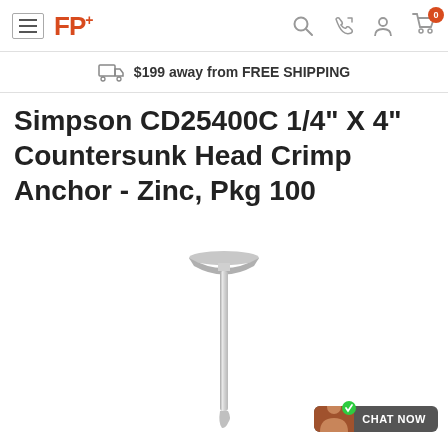FP+ navigation bar with hamburger menu, logo, search, phone, account, and cart (0) icons
$199 away from FREE SHIPPING
Simpson CD25400C 1/4" X 4" Countersunk Head Crimp Anchor - Zinc, Pkg 100
[Figure (photo): A zinc countersunk head crimp anchor bolt/screw shown vertically, with flat countersunk head at top and a long thin shank extending downward, chrome/silver finish.]